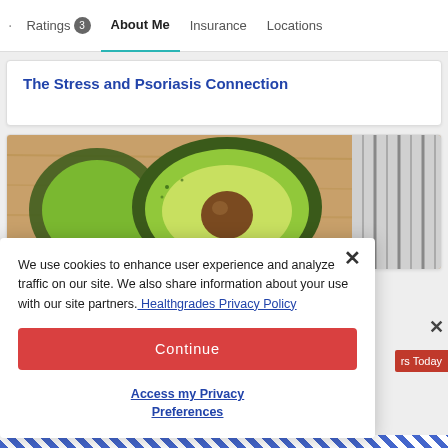Ratings 3  About Me  Insurance  Locations
The Stress and Psoriasis Connection
[Figure (photo): Close-up photo of a halved avocado showing the green flesh and brown pit, placed on a wooden cutting board with blue and white striped fabric in the background.]
We use cookies to enhance user experience and analyze traffic on our site. We also share information about your use with our site partners. Healthgrades Privacy Policy
Continue
Access my Privacy Preferences